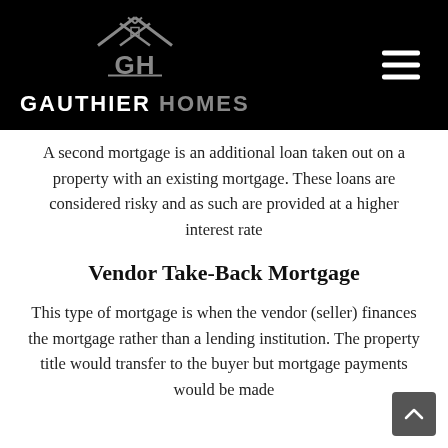[Figure (logo): Gauthier Homes logo with house icon and GH letters, white text on black background header with hamburger menu icon]
A second mortgage is an additional loan taken out on a property with an existing mortgage. These loans are considered risky and as such are provided at a higher interest rate
Vendor Take-Back Mortgage
This type of mortgage is when the vendor (seller) finances the mortgage rather than a lending institution. The property title would transfer to the buyer but mortgage payments would be made